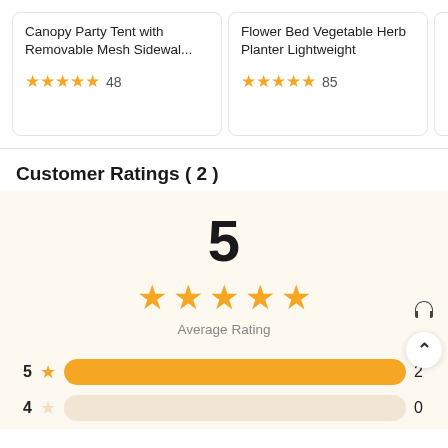[Figure (screenshot): Top portion of product cards row: 'Canopy Party Tent with Removable Mesh Sidewal...' with 5 orange stars and 48 reviews; 'Flower Bed Vegetable Herb Planter Lightweight' with 5 orange stars and 85 reviews; partial third card]
Customer Ratings ( 2 )
5
Average Rating
5 ★ 2
4  0